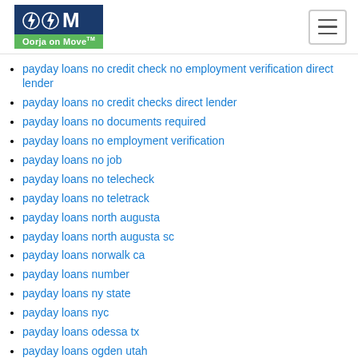Oorja on Move
payday loans no credit check no employment verification direct lender
payday loans no credit checks direct lender
payday loans no documents required
payday loans no employment verification
payday loans no job
payday loans no telecheck
payday loans no teletrack
payday loans north augusta
payday loans north augusta sc
payday loans norwalk ca
payday loans number
payday loans ny state
payday loans nyc
payday loans odessa tx
payday loans ogden utah